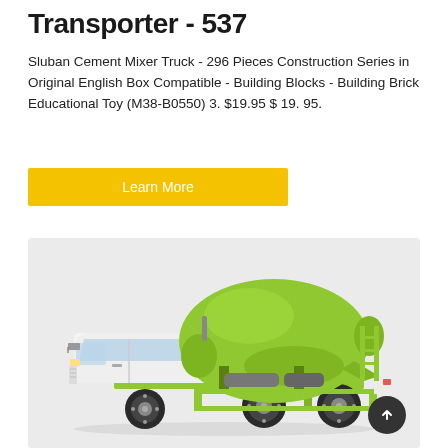Transporter - 537
Sluban Cement Mixer Truck - 296 Pieces Construction Series in Original English Box Compatible - Building Blocks - Building Brick Educational Toy (M38-B0550) 3. $19.95 $ 19. 95.
Learn More
[Figure (photo): Green and white cement mixer truck (concrete transit mixer) with lime-green drum and chassis, white cab, photographed from the side on a light gray background.]